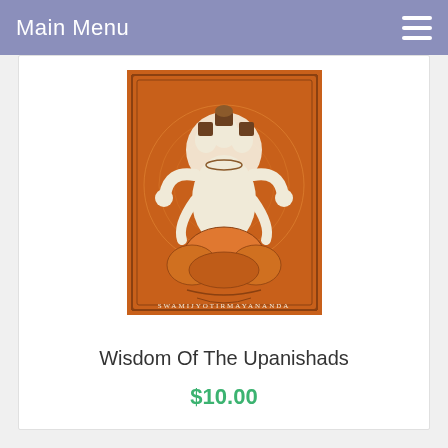Main Menu
[Figure (illustration): Book cover of 'Wisdom Of The Upanishads' by Swami Jyotirmayananda. Orange background with an intricate illustration of a multi-headed Hindu deity seated on a lotus flower, surrounded by ornamental borders. Text at bottom reads SWAMIJYOTIRMAYANANDA.]
Wisdom Of The Upanishads
$10.00